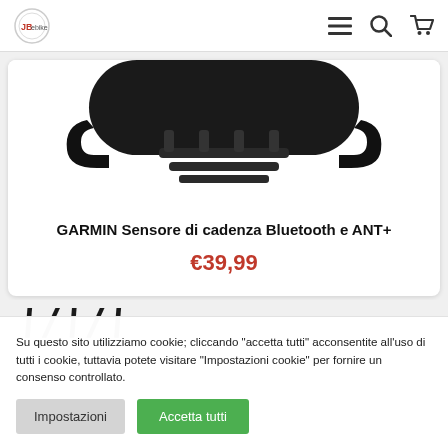JB ebike navigation bar with logo, menu, search, and cart icons
[Figure (photo): Close-up photo of a black Garmin cadence sensor bottom side showing mounting clips and ridges, cropped at top]
GARMIN Sensore di cadenza Bluetooth e ANT+
€39,99
[Figure (illustration): Decorative slash/diagonal stripe pattern row]
Su questo sito utilizziamo cookie; cliccando "accetta tutti" acconsentite all'uso di tutti i cookie, tuttavia potete visitare "Impostazioni cookie" per fornire un consenso controllato.
Impostazioni | Accetta tutti